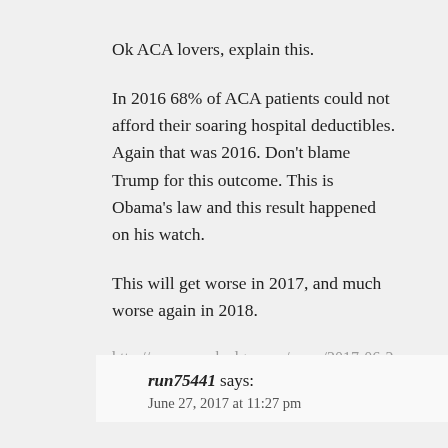Ok ACA lovers, explain this.
In 2016 68% of ACA patients could not afford their soaring hospital deductibles. Again that was 2016. Don't blame Trump for this outcome. This is Obama's law and this result happened on his watch.
This will get worse in 2017, and much worse again in 2018.
http://www.zerohedge.com/news/2017-06-27/2-out-3-patients-cant-afford-their-hospital-bills-thanks-obamacares-soaring-deductib
run75441 says:
June 27, 2017 at 11:27 pm